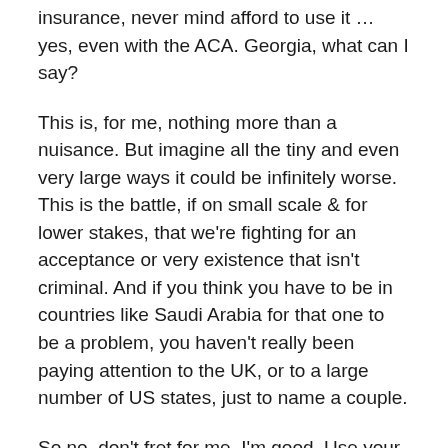insurance, never mind afford to use it … yes, even with the ACA. Georgia, what can I say?
This is, for me, nothing more than a nuisance. But imagine all the tiny and even very large ways it could be infinitely worse. This is the battle, if on small scale & for lower stakes, that we're fighting for an acceptance or very existence that isn't criminal. And if you think you have to be in countries like Saudi Arabia for that one to be a problem, you haven't really been paying attention to the UK, or to a large number of US states, just to name a couple.
So no, don't fret for me. I'm good. Use your imagination to understand how this is for people with less good fortune, then maybe stand up, take a deep breath and start shouting down the bigots and demanding accountability &